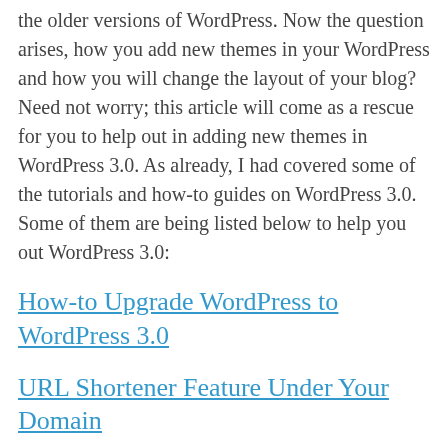the older versions of WordPress. Now the question arises, how you add new themes in your WordPress and how you will change the layout of your blog? Need not worry; this article will come as a rescue for you to help out in adding new themes in WordPress 3.0. As already, I had covered some of the tutorials and how-to guides on WordPress 3.0. Some of them are being listed below to help you out WordPress 3.0:
How-to Upgrade WordPress to WordPress 3.0
URL Shortener Feature Under Your Domain